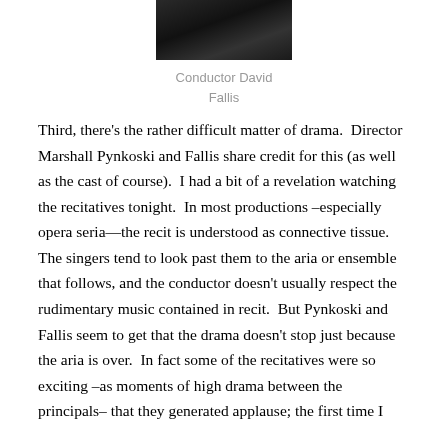[Figure (photo): Dark photograph of Conductor David Fallis, mostly obscured in shadow]
Conductor David Fallis
Third, there's the rather difficult matter of drama.  Director Marshall Pynkoski and Fallis share credit for this (as well as the cast of course).  I had a bit of a revelation watching the recitatives tonight.  In most productions –especially opera seria—the recit is understood as connective tissue.  The singers tend to look past them to the aria or ensemble that follows, and the conductor doesn't usually respect the rudimentary music contained in recit.  But Pynkoski and Fallis seem to get that the drama doesn't stop just because the aria is over.  In fact some of the recitatives were so exciting –as moments of high drama between the principals– that they generated applause; the first time I